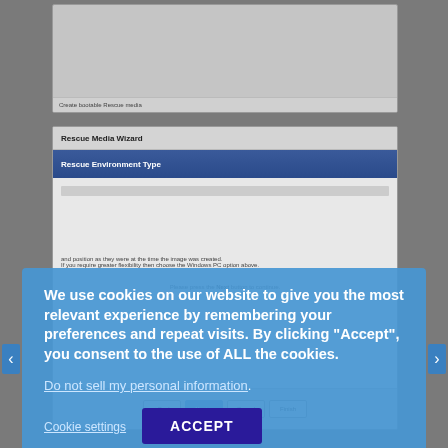[Figure (screenshot): Top screenshot showing a software interface, partially visible, with a bottom status bar.]
[Figure (screenshot): Rescue Media Wizard dialog screenshot showing 'Rescue Environment Type' blue header, wizard body text, and navigation buttons: < Back, Next >, Cancel, Finish.]
We use cookies on our website to give you the most relevant experience by remembering your preferences and repeat visits. By clicking "Accept", you consent to the use of ALL the cookies.
Do not sell my personal information.
Cookie settings
ACCEPT